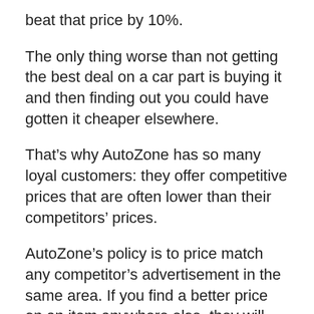beat that price by 10%.
The only thing worse than not getting the best deal on a car part is buying it and then finding out you could have gotten it cheaper elsewhere.
That’s why AutoZone has so many loyal customers: they offer competitive prices that are often lower than their competitors’ prices.
AutoZone’s policy is to price match any competitor’s advertisement in the same area. If you find a better price on an item anywhere else, they will match it.